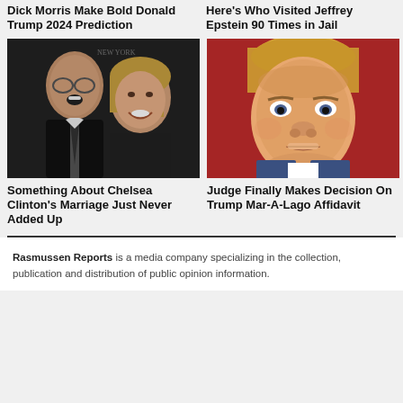Dick Morris Make Bold Donald Trump 2024 Prediction
Here's Who Visited Jeffrey Epstein 90 Times in Jail
[Figure (photo): Photo of a man and woman smiling together, likely Chelsea Clinton and husband]
[Figure (photo): Close-up photo of Donald Trump looking serious]
Something About Chelsea Clinton's Marriage Just Never Added Up
Judge Finally Makes Decision On Trump Mar-A-Lago Affidavit
Rasmussen Reports is a media company specializing in the collection, publication and distribution of public opinion information.